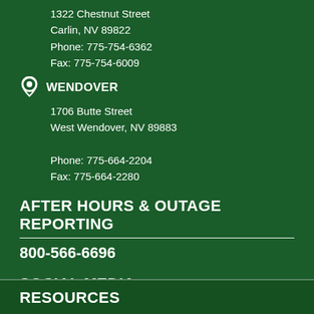1322 Chestnut Street
Carlin, NV 89822
Phone: 775-754-6362
Fax: 775-754-6009
WENDOVER
1706 Butte Street
West Wendover, NV 89883
Phone: 775-664-2204
Fax: 775-664-2280
AFTER HOURS & OUTAGE REPORTING
800-566-6696
SOCIAL MEDIA
[Figure (illustration): Facebook and Twitter social media icons as white circles with white logos on dark green background]
RESOURCES